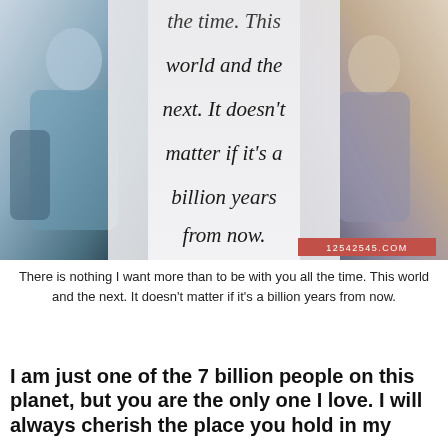[Figure (photo): Composite image: man in light blue shirt on left, woman with blonde hair on right, semi-transparent white overlay in center with cursive quote text. Watermark '12542545.COM' in red box bottom right.]
There is nothing I want more than to be with you all the time. This world and the next. It doesn't matter if it's a billion years from now.
I am just one of the 7 billion people on this planet, but you are the only one I love. I will always cherish the place you hold in my